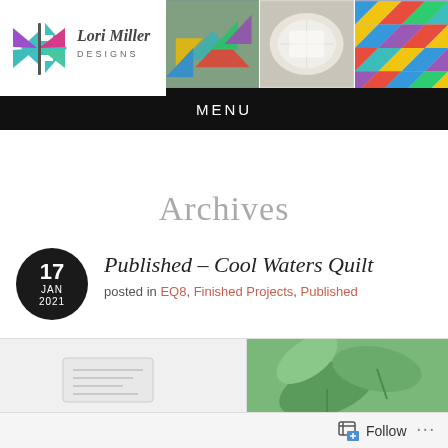[Figure (logo): Lori Miller Designs logo with butterfly/arrow shapes in purple, teal, and magenta, with quilt photo thumbnails to the right]
MENU
Archives
17 JAN 2021 Published – Cool Waters Quilt posted in EQ8, Finished Projects, Published
[Figure (photo): Bottom strip showing a white label/tag item on the left and green plant leaves on the right]
Follow ...